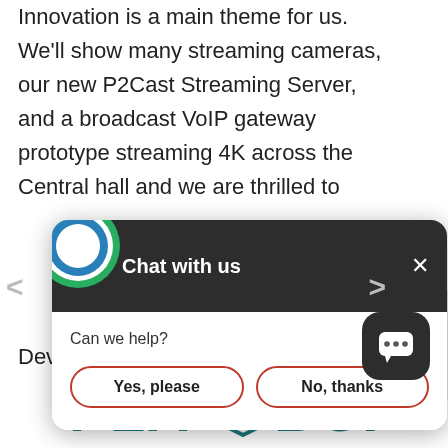Innovation is a main theme for us. We'll show many streaming cameras, our new P2Cast Streaming Server, and a broadcast VoIP gateway prototype streaming 4K across the Central hall and we are thrilled to
[Figure (screenshot): Chat widget popup with header 'Chat with us', close button (×), question 'Can we help?' and two buttons: 'Yes, please' and 'No, thanks'. The popup has a green circle logo icon in the header area.]
Development Manager at Panasonic
[Figure (logo): PlayBox teal/green logo text with a 3D box icon replacing the letter O]